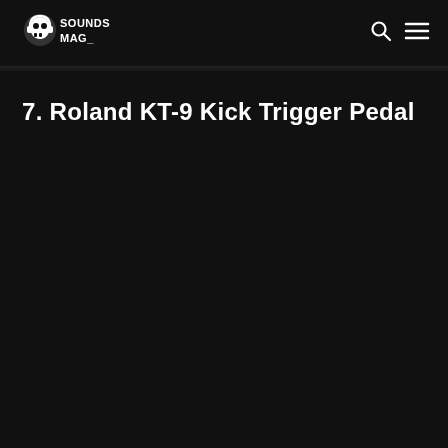SOUNDS MAG_
7. Roland KT-9 Kick Trigger Pedal